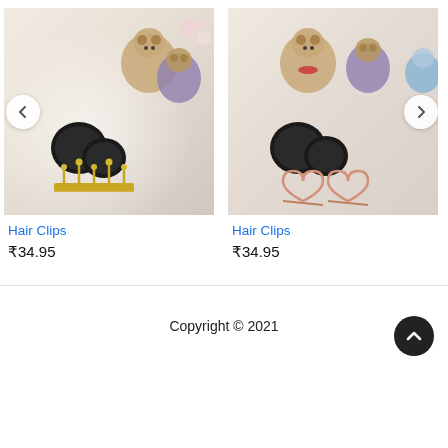[Figure (photo): Hair clip product photo - black and gold crown-shaped hair clip with black beads, teddy bear figurines in background]
Hair Clips
₹34.95
[Figure (photo): Hair clip product photo - double heart rose gold hair clips with black beads, teddy bear figurines in background]
Hair Clips
₹34.95
Copyright © 2021